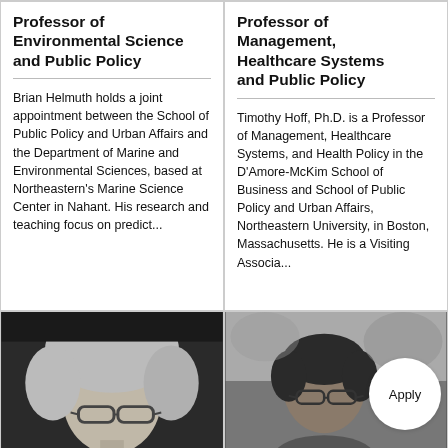Professor of Environmental Science and Public Policy
Brian Helmuth holds a joint appointment between the School of Public Policy and Urban Affairs and the Department of Marine and Environmental Sciences, based at Northeastern's Marine Science Center in Nahant. His research and teaching focus on predict...
Professor of Management, Healthcare Systems and Public Policy
Timothy Hoff, Ph.D. is a Professor of Management, Healthcare Systems, and Health Policy in the D'Amore-McKim School of Business and School of Public Policy and Urban Affairs, Northeastern University, in Boston, Massachusetts. He is a Visiting Associa...
[Figure (photo): Black and white headshot of a woman with short light-colored hair and glasses, partial view]
[Figure (photo): Black and white headshot of a man with dark hair and glasses, partial view, with Apply button overlay]